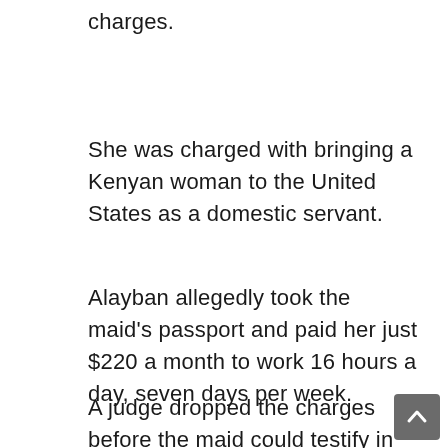charges.
She was charged with bringing a Kenyan woman to the United States as a domestic servant.
Alayban allegedly took the maid's passport and paid her just $220 a month to work 16 hours a day, seven days per week.
A judge dropped the charges before the maid could testify in court.